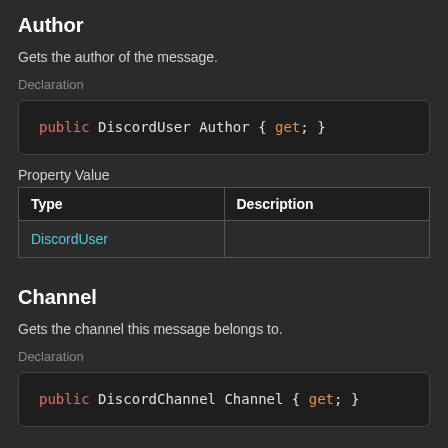Author
Gets the author of the message.
Declaration
Property Value
| Type | Description |
| --- | --- |
| DiscordUser |  |
Channel
Gets the channel this message belongs to.
Declaration